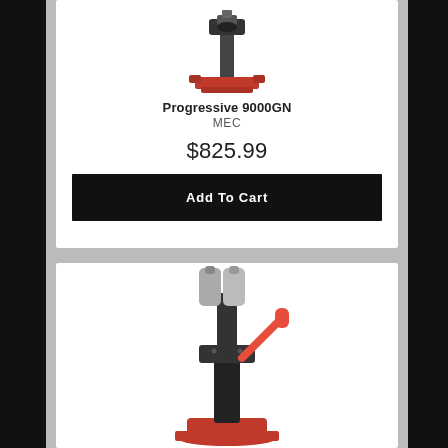[Figure (photo): Red and black MEC Progressive 9000GN reloading press machine, viewed from above at slight angle]
Progressive 9000GN
MEC
$825.99
Add To Cart
[Figure (photo): MEC reloading press with two silver cylindrical powder/shot reservoirs on top and red handle arm, mounted on red base]